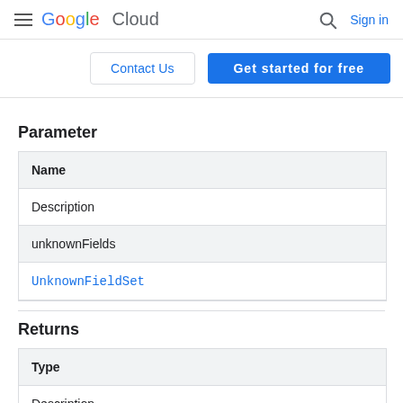Google Cloud  Sign in
Contact Us  Get started for free
Parameter
| Name | Description |
| --- | --- |
| unknownFields | UnknownFieldSet |
Returns
| Type | Description |
| --- | --- |